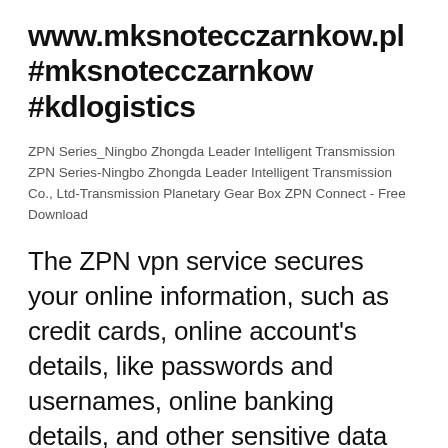www.mksnotecczarnkow.pl #mksnotecczarnkow #kdlogistics
ZPN Series_Ningbo Zhongda Leader Intelligent Transmission ZPN Series-Ningbo Zhongda Leader Intelligent Transmission Co., Ltd-Transmission Planetary Gear Box ZPN Connect - Free Download
The ZPN vpn service secures your online information, such as credit cards, online account's details, like passwords and usernames, online banking details, and other sensitive data with the help of an AES-256 encryption, which is efficient and non-detectable.
ZPN Connect is free and for those visit VPN client for...